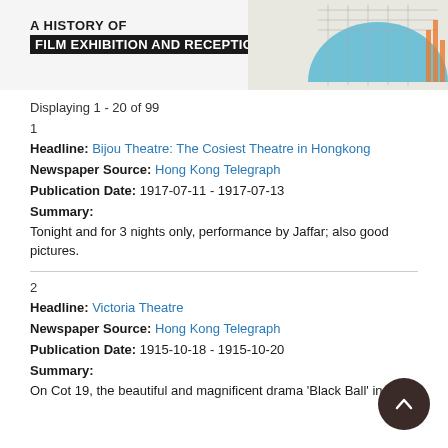[Figure (illustration): Header banner for 'A History of Film Exhibition and Reception' with a blue dome/arc chart graphic on the right side]
Displaying 1 - 20 of 99
1
Headline: Bijou Theatre: The Cosiest Theatre in Hongkong
Newspaper Source: Hong Kong Telegraph
Publication Date: 1917-07-11 - 1917-07-13
Summary:
Tonight and for 3 nights only, performance by Jaffar; also good pictures.
2
Headline: Victoria Theatre
Newspaper Source: Hong Kong Telegraph
Publication Date: 1915-10-18 - 1915-10-20
Summary:
On Cot 19, the beautiful and magnificent drama 'Black Ball' in 3